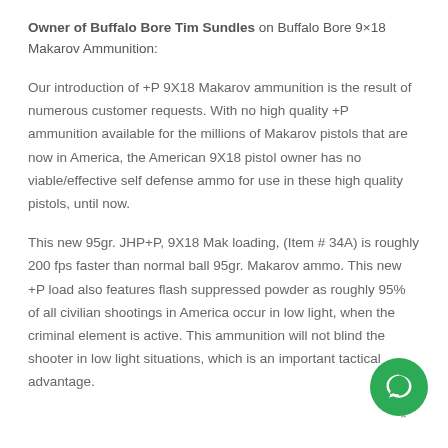Owner of Buffalo Bore Tim Sundles on Buffalo Bore 9×18 Makarov Ammunition:
Our introduction of +P 9X18 Makarov ammunition is the result of numerous customer requests. With no high quality +P ammunition available for the millions of Makarov pistols that are now in America, the American 9X18 pistol owner has no viable/effective self defense ammo for use in these high quality pistols, until now.
This new 95gr. JHP+P, 9X18 Mak loading, (Item # 34A) is roughly 200 fps faster than normal ball 95gr. Makarov ammo. This new +P load also features flash suppressed powder as roughly 95% of all civilian shootings in America occur in low light, when the criminal element is active. This ammunition will not blind the shooter in low light situations, which is an important tactical advantage.